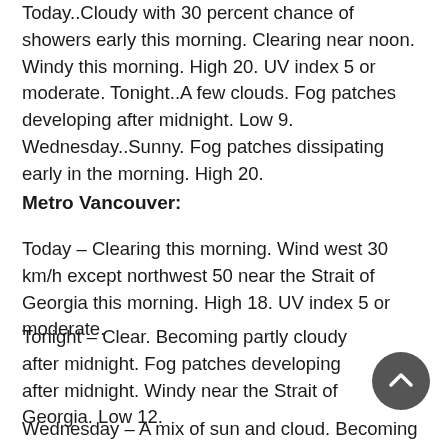Today..Cloudy with 30 percent chance of showers early this morning. Clearing near noon. Windy this morning. High 20. UV index 5 or moderate. Tonight..A few clouds. Fog patches developing after midnight. Low 9. Wednesday..Sunny. Fog patches dissipating early in the morning. High 20.
Metro Vancouver:
Today – Clearing this morning. Wind west 30 km/h except northwest 50 near the Strait of Georgia this morning. High 18. UV index 5 or moderate.
Tonight – Clear. Becoming partly cloudy after midnight. Fog patches developing after midnight. Windy near the Strait of Georgia. Low 12.
Wednesday – A mix of sun and cloud. Becoming sunny in the morning. Fog patches dissipating in the morning. High